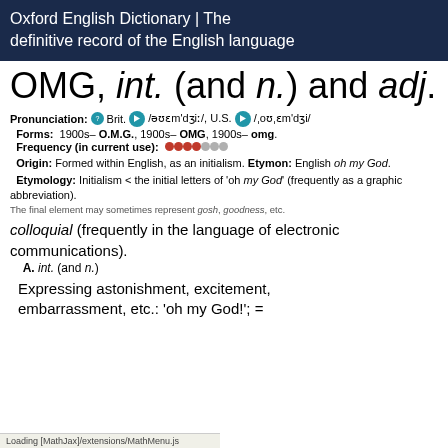Oxford English Dictionary | The definitive record of the English language
OMG, int. (and n.) and adj.
Pronunciation: Brit. /əʊɛmˈdʒiː/, U.S. /ˌoʊˌcɛmˈdʒi/
Forms: 1900s– O.M.G., 1900s– OMG, 1900s– omg.
Frequency (in current use): ●●●●○○○
Origin: Formed within English, as an initialism. Etymon: English oh my God.
Etymology: Initialism < the initial letters of ‘oh my God’ (frequently as a graphic abbreviation).
The final element may sometimes represent gosh, goodness, etc.
colloquial (frequently in the language of electronic communications).
A. int. (and n.)
Expressing astonishment, excitement, embarrassment, etc.: ‘oh my God!’; =
Loading [MathJax]/extensions/MathMenu.js